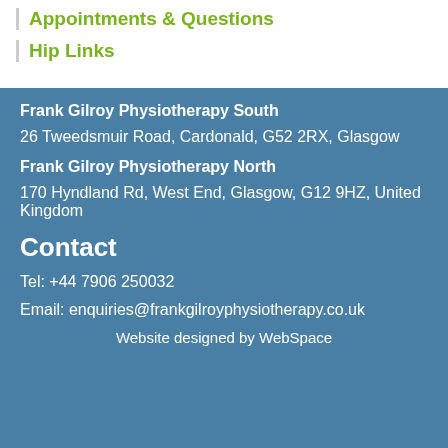Appointments & Questions
Hip Links
Frank Gilroy Physiotherapy South
26 Tweedsmuir Road, Cardonald, G52 2RX, Glasgow
Frank Gilroy Physiotherapy North
170 Hyndland Rd, West End, Glasgow, G12 9HZ, United Kingdom
Contact
Tel: +44 7906 250032
Email: enquiries@frankgilroyphysiotherapy.co.uk
Website designed by WebSpace